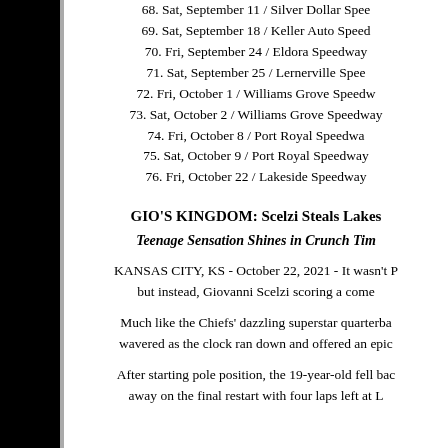68. Sat, September 11 / Silver Dollar Spee
69. Sat, September 18 / Keller Auto Speed
70. Fri, September 24 / Eldora Speedway
71. Sat, September 25 / Lernerville Spee
72. Fri, October 1 / Williams Grove Speedw
73. Sat, October 2 / Williams Grove Speedway
74. Fri, October 8 / Port Royal Speedwa
75. Sat, October 9 / Port Royal Speedway
76. Fri, October 22 / Lakeside Speedway
GIO'S KINGDOM: Scelzi Steals Lakes
Teenage Sensation Shines in Crunch Tim
KANSAS CITY, KS - October 22, 2021 - It wasn't P but instead, Giovanni Scelzi scoring a come
Much like the Chiefs' dazzling superstar quarterba wavered as the clock ran down and offered an epic
After starting pole position, the 19-year-old fell bac away on the final restart with four laps left at L